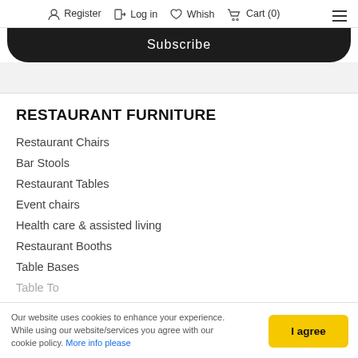Register  Log in  Whish  Cart (0)
[Figure (screenshot): Subscribe button — dark rounded bar at top of page content]
RESTAURANT FURNITURE
Restaurant Chairs
Bar Stools
Restaurant Tables
Event chairs
Health care & assisted living
Restaurant Booths
Table Bases
Table To…
Our website uses cookies to enhance your experience. While using our website/services you agree with our cookie policy. More info please